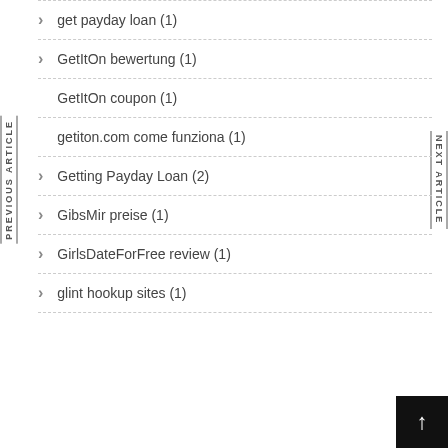get payday loan (1)
GetItOn bewertung (1)
GetItOn coupon (1)
getiton.com come funziona (1)
Getting Payday Loan (2)
GibsMir preise (1)
GirlsDateForFree review (1)
glint hookup sites (1)